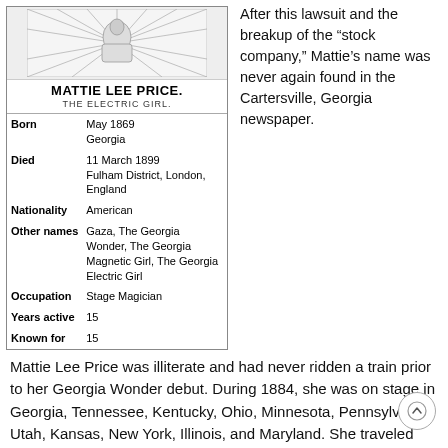[Figure (illustration): Portrait illustration of Mattie Lee Price, a woman with radiating lines suggesting electric/magnetic aura around her upper body]
| Born | May 1869
Georgia |
| Died | 11 March 1899
Fulham District, London, England |
| Nationality | American |
| Other names | Gaza, The Georgia Wonder, The Georgia Magnetic Girl, The Georgia Electric Girl |
| Occupation | Stage Magician |
| Years active | 15 |
| Known for | 15 |
After this lawsuit and the breakup of the “stock company,” Mattie’s name was never again found in the Cartersville, Georgia newspaper.
Mattie Lee Price was illiterate and had never ridden a train prior to her Georgia Wonder debut. During 1884, she was on stage in Georgia, Tennessee, Kentucky, Ohio, Minnesota, Pennsylvania, Utah, Kansas, New York, Illinois, and Maryland. She traveled with her father